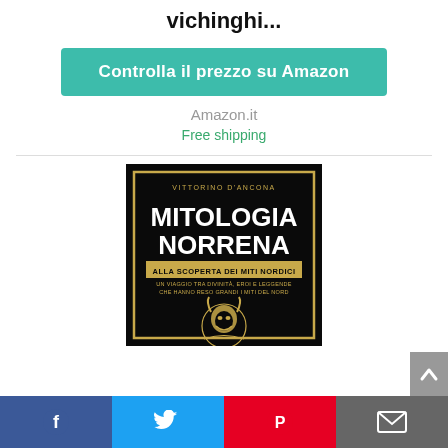vichinghi...
Controlla il prezzo su Amazon
Amazon.it
Free shipping
[Figure (photo): Book cover of 'Mitologia Norrena - Alla Scoperta dei Miti Nordici' by Vittorino D'Ancona. Black background with large golden text and a Viking warrior illustration.]
[Figure (infographic): Social media sharing bar with Facebook, Twitter, Pinterest, and email icons at the bottom of the page.]